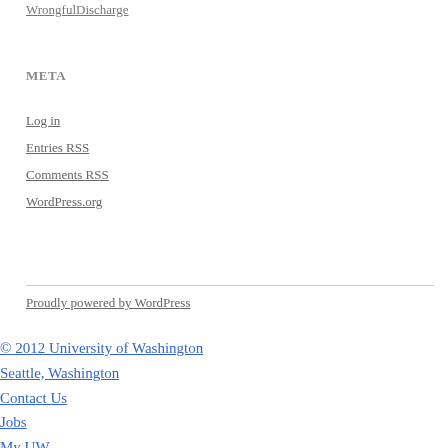WrongfulDischarge
META
Log in
Entries RSS
Comments RSS
WordPress.org
Proudly powered by WordPress
© 2012 University of Washington
Seattle, Washington
Contact Us
Jobs
My UW
Privacy
Terms